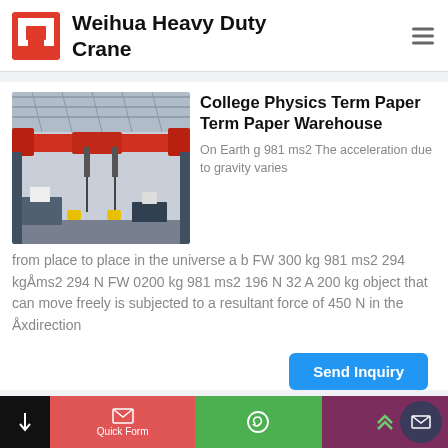Weihua Heavy Duty Crane
[Figure (photo): Industrial overhead crane (red) inside a warehouse facility with steel structures and equipment visible]
College Physics Term Paper Term Paper Warehouse
On Earth g 981 ms2 The acceleration due to gravity varies from place to place in the universe a b FW 300 kg 981 ms2 294 kgÅms2 294 N FW 0200 kg 981 ms2 196 N 32 A 200 kg object that can move freely is subjected to a resultant force of 450 N in the Åxdirection
Send Inquiry
Quick Form